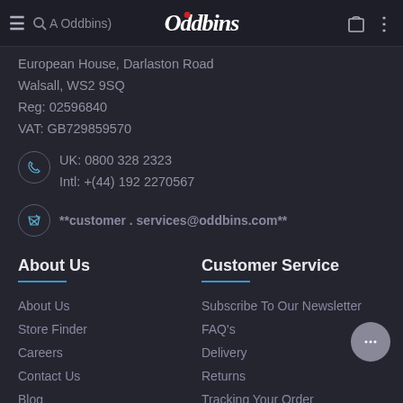Oddbins navigation bar
European House, Darlaston Road
Walsall, WS2 9SQ
Reg: 02596840
VAT: GB729859570
UK: 0800 328 2323
Intl: +(44) 192 2270567
**customer . services@oddbins.com**
About Us
Customer Service
About Us
Store Finder
Careers
Contact Us
Blog
Subscribe To Our Newsletter
FAQ's
Delivery
Returns
Tracking Your Order